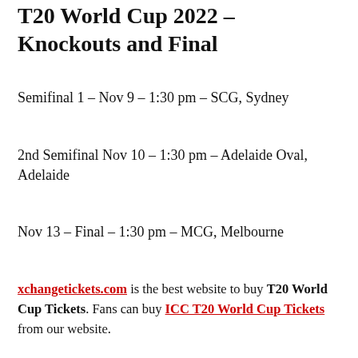T20 World Cup 2022 – Knockouts and Final
Semifinal 1 – Nov 9 – 1:30 pm – SCG, Sydney
2nd Semifinal Nov 10 – 1:30 pm – Adelaide Oval, Adelaide
Nov 13 – Final – 1:30 pm – MCG, Melbourne
xchangetickets.com is the best website to buy T20 World Cup Tickets. Fans can buy ICC T20 World Cup Tickets from our website.
ICC T20 World Cup 2022: ICC